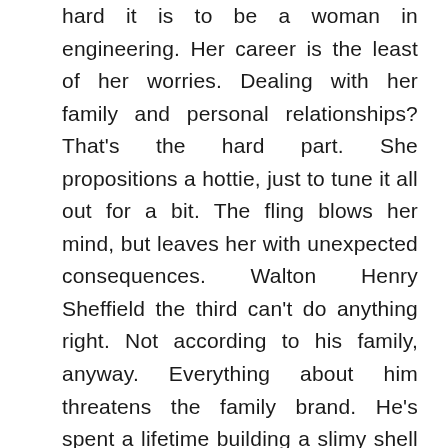hard it is to be a woman in engineering. Her career is the least of her worries. Dealing with her family and personal relationships? That's the hard part. She propositions a hottie, just to tune it all out for a bit. The fling blows her mind, but leaves her with unexpected consequences. Walton Henry Sheffield the third can't do anything right. Not according to his family, anyway. Everything about him threatens the family brand. He's spent a lifetime building a slimy shell to try and deflect his parents' heartless jabs, but then he meets the one woman who calls him out for acting fake. The passionate romp rocks Walt's world, but a family crisis pulls him away from Orla and life as he knew it. By the time they meet again, he's a different person, and she's carrying a huge